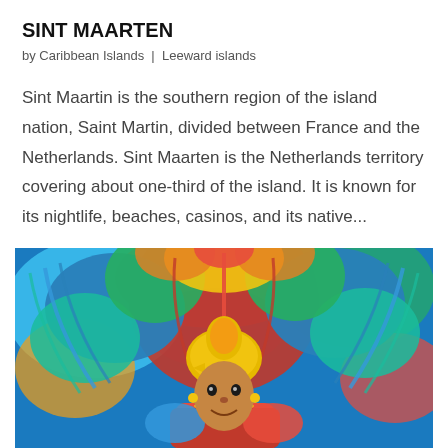SINT MAARTEN
by Caribbean Islands | Leeward islands
Sint Maartin is the southern region of the island nation, Saint Martin, divided between France and the Netherlands. Sint Maarten is the Netherlands territory covering about one-third of the island. It is known for its nightlife, beaches, casinos, and its native...
[Figure (photo): A carnival performer wearing a large colorful feathered costume in red, blue, green, and yellow with a golden bird headpiece, photographed from the chest up against a colorful background.]